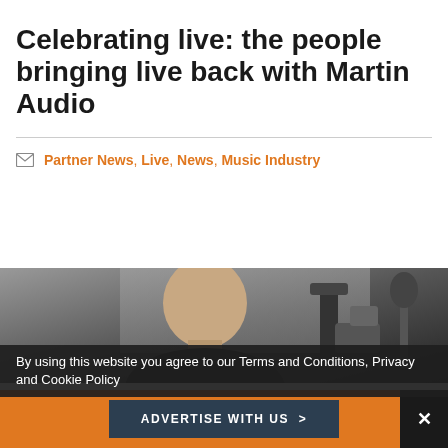Celebrating live: the people bringing live back with Martin Audio
Partner News, Live, News, Music Industry
[Figure (photo): Photo of a bald man near audio equipment, partially visible]
By using this website you agree to our Terms and Conditions, Privacy and Cookie Policy
ADVERTISE WITH US >